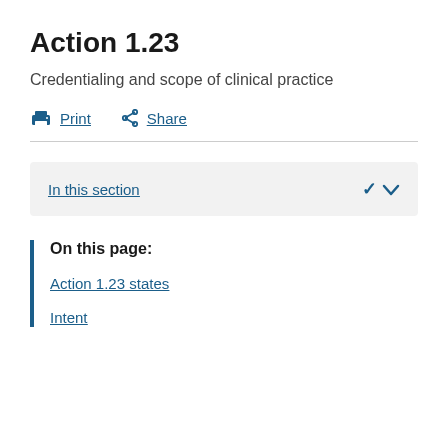Action 1.23
Credentialing and scope of clinical practice
Print   Share
In this section
On this page:
Action 1.23 states
Intent